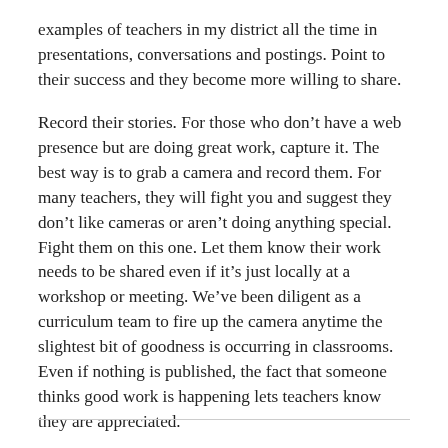examples of teachers in my district all the time in presentations, conversations and postings. Point to their success and they become more willing to share.
Record their stories. For those who don't have a web presence but are doing great work, capture it. The best way is to grab a camera and record them. For many teachers, they will fight you and suggest they don't like cameras or aren't doing anything special. Fight them on this one. Let them know their work needs to be shared even if it's just locally at a workshop or meeting. We've been diligent as a curriculum team to fire up the camera anytime the slightest bit of goodness is occurring in classrooms. Even if nothing is published, the fact that someone thinks good work is happening lets teachers know they are appreciated.